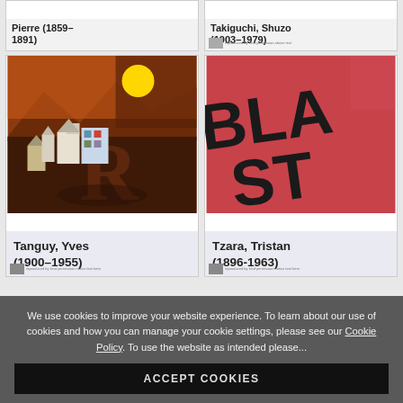[Figure (illustration): Card for Pierre (1859-1891) with thumbnail image placeholder]
[Figure (illustration): Card for Takiguchi, Shuzo (1903-1979) with thumbnail image placeholder]
[Figure (photo): Tanguy, Yves (1900-1955) — surrealist/cubist painting showing buildings, mountains, and a yellow sun]
[Figure (photo): Tzara, Tristan (1896-1963) — image showing 'BLAST' text in dark letters on a red/pink background]
We use cookies to improve your website experience. To learn about our use of cookies and how you can manage your cookie settings, please see our Cookie Policy. To use the website as intended please...
ACCEPT COOKIES